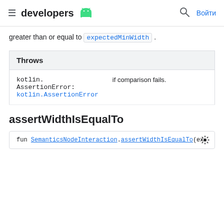≡ developers 🤖 🔍 Войти
greater than or equal to expectedMinWidth.
| Throws |  |
| --- | --- |
| kotlin.
AssertionError:
kotlin.AssertionError | if comparison fails. |
assertWidthIsEqualTo
fun SemanticsNodeInteraction.assertWidthIsEqualTo(ex